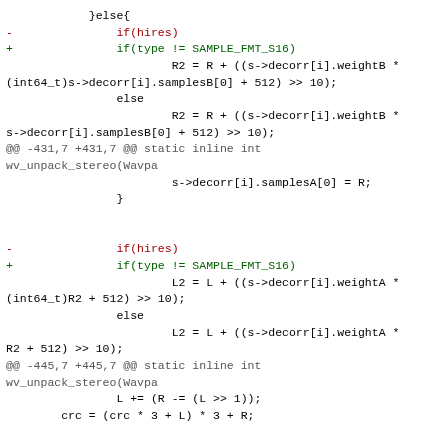}else{
-               if(hires)
+               if(type != SAMPLE_FMT_S16)
                        R2 = R + ((s->decorr[i].weightB *
(int64_t)s->decorr[i].samplesB[0] + 512) >> 10);
                else
                        R2 = R + ((s->decorr[i].weightB *
s->decorr[i].samplesB[0] + 512) >> 10);
@@ -431,7 +431,7 @@ static inline int wv_unpack_stereo(Wavpa
                        s->decorr[i].samplesA[0] = R;
                }

-               if(hires)
+               if(type != SAMPLE_FMT_S16)
                        L2 = L + ((s->decorr[i].weightA *
(int64_t)R2 + 512) >> 10);
                else
                        L2 = L + ((s->decorr[i].weightA *
R2 + 512) >> 10);
@@ -445,7 +445,7 @@ static inline int wv_unpack_stereo(Wavpa
                L += (R -= (L >> 1));
        crc = (crc * 3 + L) * 3 + R;

-       if(hires){
+       if(type == SAMPLE_FMT_S32){
                *dst32++ = wv_get_value_integer(s,
&crc_extra_bits, L);
                *dst32++ = wv_get_value_integer(s,